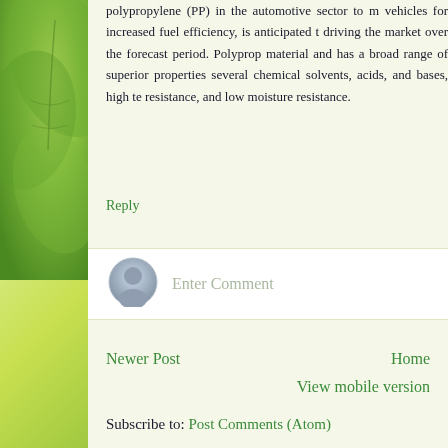polypropylene (PP) in the automotive sector to m vehicles for increased fuel efficiency, is anticipated t driving the market over the forecast period. Polyprop material and has a broad range of superior properties several chemical solvents, acids, and bases, high te resistance, and low moisture resistance.
Reply
Enter Comment
Newer Post
Home
View mobile version
Subscribe to: Post Comments (Atom)